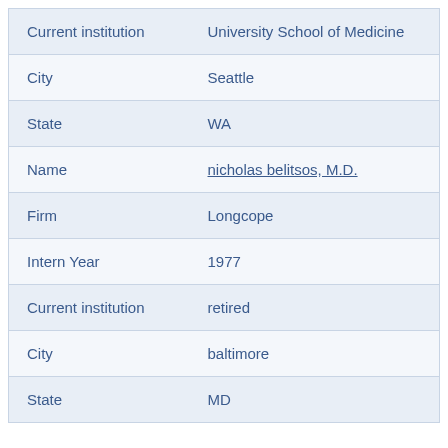| Current institution | University School of Medicine |
| City | Seattle |
| State | WA |
| Name | nicholas belitsos, M.D. |
| Firm | Longcope |
| Intern Year | 1977 |
| Current institution | retired |
| City | baltimore |
| State | MD |